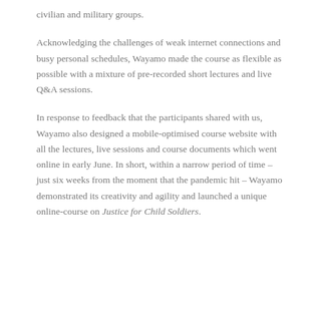civilian and military groups.
Acknowledging the challenges of weak internet connections and busy personal schedules, Wayamo made the course as flexible as possible with a mixture of pre-recorded short lectures and live Q&A sessions.
In response to feedback that the participants shared with us, Wayamo also designed a mobile-optimised course website with all the lectures, live sessions and course documents which went online in early June. In short, within a narrow period of time – just six weeks from the moment that the pandemic hit – Wayamo demonstrated its creativity and agility and launched a unique online-course on Justice for Child Soldiers.